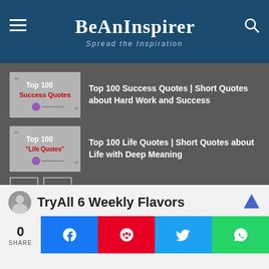BeAnInspirer — Spread the Inspiration
Top 100 Success Quotes | Short Quotes about Hard Work and Success
Top 100 Life Quotes | Short Quotes about Life with Deep Meaning
Quotes Library
Thought For The Day with Motivational Words
0 SHARE
[Figure (screenshot): TryAll 6 Weekly Flavors advertisement with social share bar showing messenger, pinterest, twitter, whatsapp buttons]